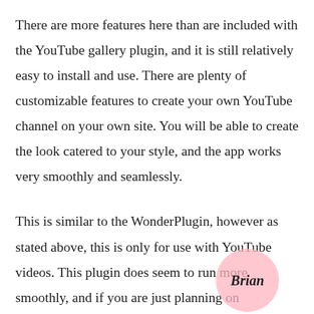There are more features here than are included with the YouTube gallery plugin, and it is still relatively easy to install and use. There are plenty of customizable features to create your own YouTube channel on your own site. You will be able to create the look catered to your style, and the app works very smoothly and seamlessly.
This is similar to the WonderPlugin, however as stated above, this is only for use with YouTube videos. This plugin does seem to run more smoothly, and if you are just planning on